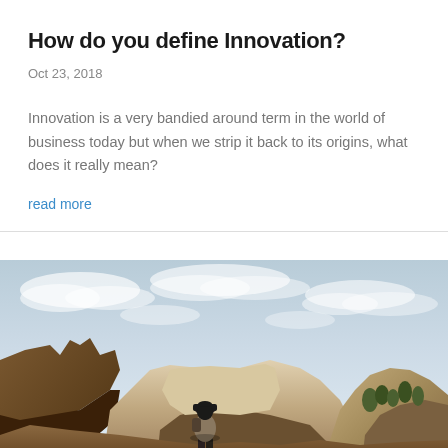How do you define Innovation?
Oct 23, 2018
Innovation is a very bandied around term in the world of business today but when we strip it back to its origins, what does it really mean?
read more
[Figure (photo): A person with a backpack and hat standing on rocky terrain, looking through binoculars or a camera, with dramatic red rock cliffs and a cloudy sky in the background.]